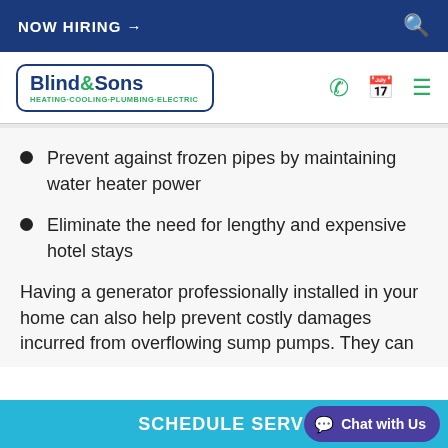NOW HIRING →
[Figure (logo): Blind & Sons logo - Heating-Cooling-Plumbing-Electric]
Prevent against frozen pipes by maintaining water heater power
Eliminate the need for lengthy and expensive hotel stays
Having a generator professionally installed in your home can also help prevent costly damages incurred from overflowing sump pumps. They can
SCHEDULE SERVI   Chat with Us